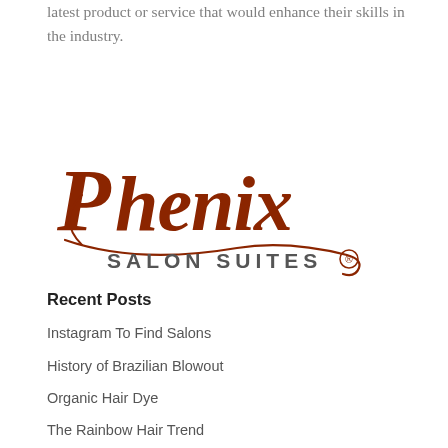latest product or service that would enhance their skills in the industry.
[Figure (logo): Phenix Salon Suites logo — stylized cursive 'Phenix' in dark red/brown above 'SALON SUITES' in spaced grey capitals, with a decorative swash underline and a registered trademark symbol.]
Recent Posts
Instagram To Find Salons
History of Brazilian Blowout
Organic Hair Dye
The Rainbow Hair Trend